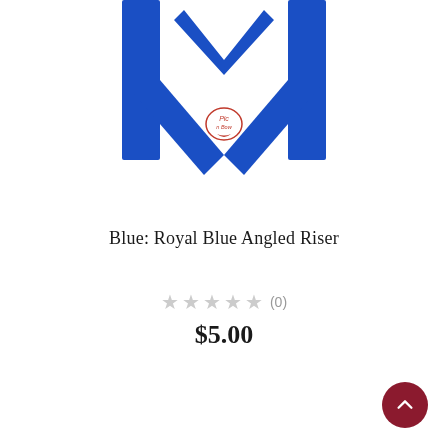[Figure (photo): Royal Blue Angled Riser product image - blue W-shaped or chevron/arch display riser with a small red decorative logo/stamp in the center]
Blue: Royal Blue Angled Riser
★★★★★ (0)
$5.00